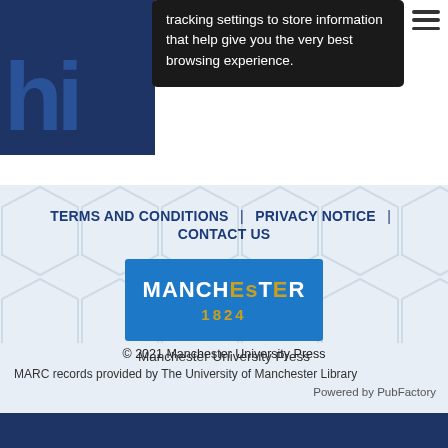[Figure (screenshot): Partial website header showing blue logo letters 'hi' on left, dark tooltip/cookie notice popup in center reading 'tracking settings to store information that help give you the very best browsing experience.', hamburger menu icon top right]
TERMS AND CONDITIONS | PRIVACY NOTICE | CONTACT US
[Figure (logo): Manchester University Press logo: blue rectangle with MANCHESTER in white bold text (ES highlighted in gold) and 1824 in gold below]
Manchester University Press
© 2021 Manchester University Press
MARC records provided by The University of Manchester Library
Powered by PubFactory